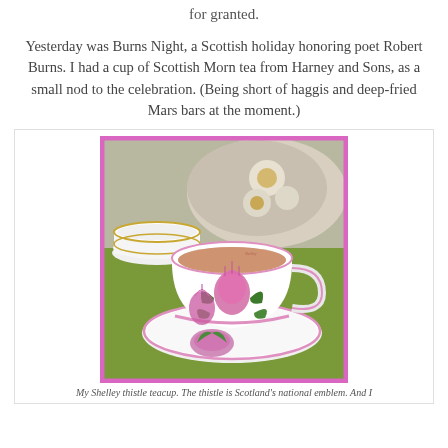for granted.
Yesterday was Burns Night, a Scottish holiday honoring poet Robert Burns. I had a cup of Scottish Morn tea from Harney and Sons, as a small nod to the celebration. (Being short of haggis and deep-fried Mars bars at the moment.)
[Figure (photo): A white teacup and saucer decorated with pink and green thistle motifs, filled with tea with milk. The cup has pink trim. Set on a green mat with stacked plates and a floral cushion in the background. Pink border frame around the image.]
My Shelley thistle teacup. The thistle is Scotland's national emblem. And I